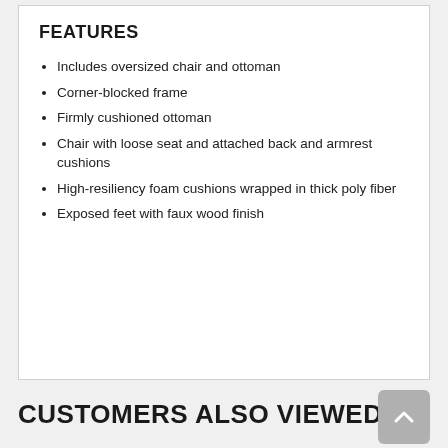FEATURES
Includes oversized chair and ottoman
Corner-blocked frame
Firmly cushioned ottoman
Chair with loose seat and attached back and armrest cushions
High-resiliency foam cushions wrapped in thick poly fiber
Exposed feet with faux wood finish
CUSTOMERS ALSO VIEWED